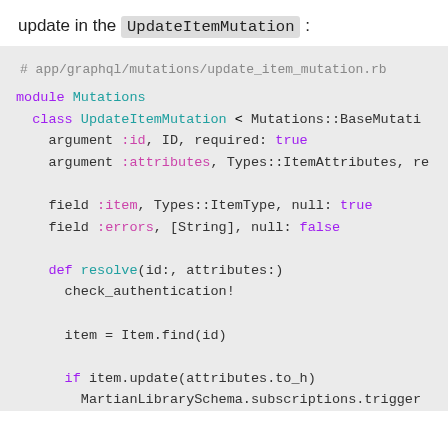update in the UpdateItemMutation:
[Figure (screenshot): Ruby code block showing UpdateItemMutation class definition with arguments, fields, and resolve method]
# app/graphql/mutations/update_item_mutation.rb